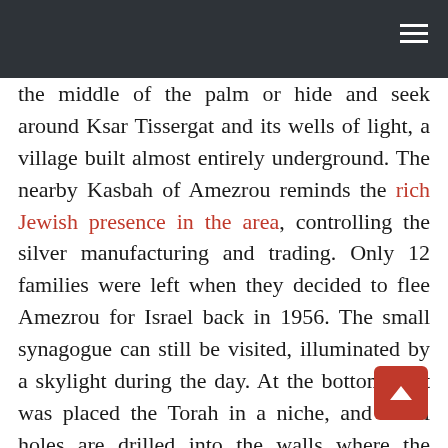the middle of the palm or hide and seek around Ksar Tissergat and its wells of light, a village built almost entirely underground. The nearby Kasbah of Amezrou reminds the rich Jewish presence in the area, controlling the silver manufacturing and trading. Only 12 families were left when they decided to flee Amezrou for Israel back in 1956. The small synagogue can still be visited, illuminated by a skylight during the day. At the bottom of it was placed the Torah in a niche, and small holes are drilled into the walls where the kippas were once deposited. Tamegrout , the potters village, is where the locals make and export throughout the country their famous and unmistakably green pottery.